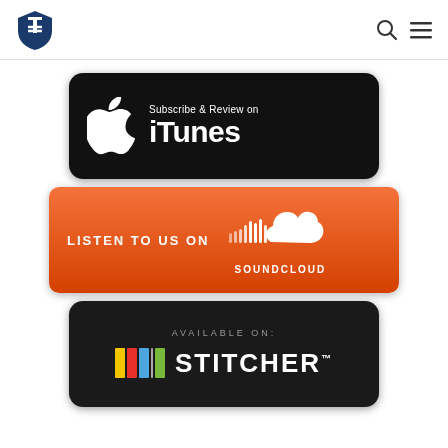[Figure (logo): Shield logo with T and K letters in blue and white]
[Figure (logo): Search icon (magnifying glass)]
[Figure (logo): Hamburger menu icon]
[Figure (illustration): iTunes badge: black rounded rectangle with Apple logo and text 'Subscribe & Review on iTunes']
[Figure (illustration): SoundCloud badge: orange rounded rectangle with text 'LISTEN TO US ON' and SoundCloud logo with 'SOUNDCLOUD' text]
[Figure (illustration): Stitcher badge: dark rounded rectangle with text 'AVAILABLE ON:' and colorful Stitcher logo with 'STITCHER' text]